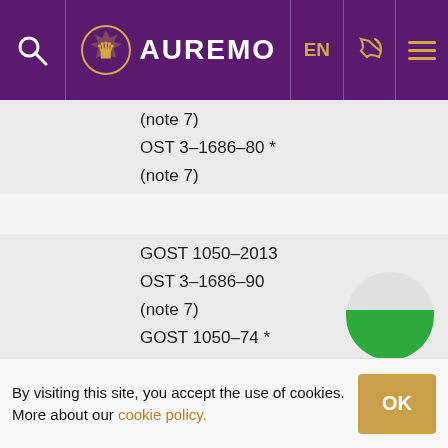AUREMO EN
(note 7)
OST 3–1686–80 *
(note 7)
GOST 1050–2013
OST 3–1686–90
(note 7)
GOST 1050–74 *
OST 3–1686–80 *
(note 7)
By visiting this site, you accept the use of cookies. More about our cookie policy.